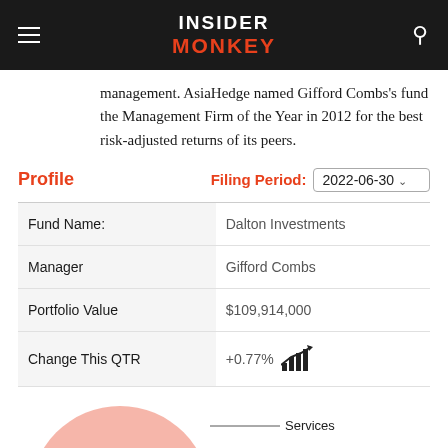INSIDER MONKEY
management. AsiaHedge named Gifford Combs's fund the Management Firm of the Year in 2012 for the best risk-adjusted returns of its peers.
Profile
Filing Period: 2022-06-30
|  |  |
| --- | --- |
| Fund Name: | Dalton Investments |
| Manager | Gifford Combs |
| Portfolio Value | $109,914,000 |
| Change This QTR | +0.77% |
[Figure (pie-chart): Partial pie chart visible at bottom of page with 'Services' label]